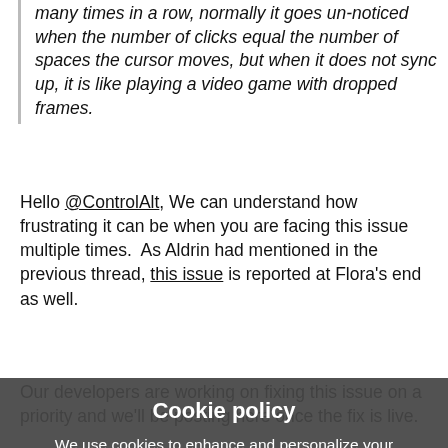many times in a row, normally it goes un-noticed when the number of clicks equal the number of spaces the cursor moves, but when it does not sync up, it is like playing a video game with dropped frames.
Hello @ControlAlt, We can understand how frustrating it can be when you are facing this issue multiple times.  As Aldrin had mentioned in the previous thread, this issue is reported at Flora's end as well.
Our developers are working on fixing this issue on a priority and we'll be posting here once the fix is live.
Apologies for the inconvenience caused.
[Figure (screenshot): Cookie policy modal overlay with dark semi-transparent background. Contains title 'Cookie policy', description text about cookies, 'Learn more about our cookies.' link, 'ACCEPT COOKIES' dark button, 'DENY ALL' white button, and 'Cookie settings' link.]